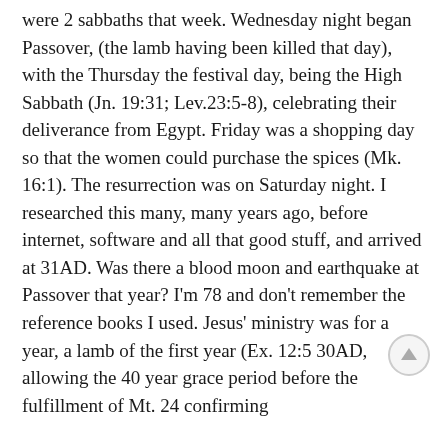were 2 sabbaths that week. Wednesday night began Passover, (the lamb having been killed that day), with the Thursday the festival day, being the High Sabbath (Jn. 19:31; Lev.23:5-8), celebrating their deliverance from Egypt. Friday was a shopping day so that the women could purchase the spices (Mk. 16:1). The resurrection was on Saturday night. I researched this many, many years ago, before internet, software and all that good stuff, and arrived at 31AD. Was there a blood moon and earthquake at Passover that year? I'm 78 and don't remember the reference books I used. Jesus' ministry was for a year, a lamb of the first year (Ex. 12:5 30AD, allowing the 40 year grace period before the fulfillment of Mt. 24 confirming